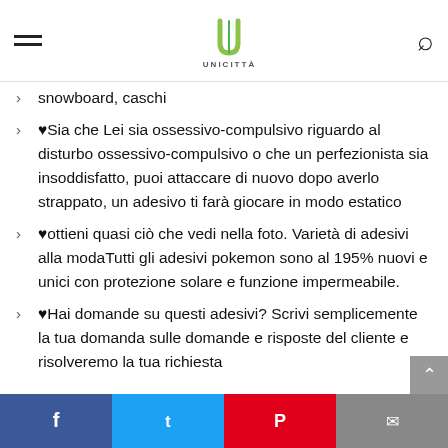UNICITTA
snowboard, caschi
♥Sia che Lei sia ossessivo-compulsivo riguardo al disturbo ossessivo-compulsivo o che un perfezionista sia insoddisfatto, puoi attaccare di nuovo dopo averlo strappato, un adesivo ti farà giocare in modo estatico
♥ottieni quasi ciò che vedi nella foto. Varietà di adesivi alla modaTutti gli adesivi pokemon sono al 195% nuovi e unici con protezione solare e funzione impermeabile.
♥Hai domande su questi adesivi? Scrivi semplicemente la tua domanda sulle domande e risposte del cliente e risolveremo la tua richiesta
Facebook Twitter Pinterest Email